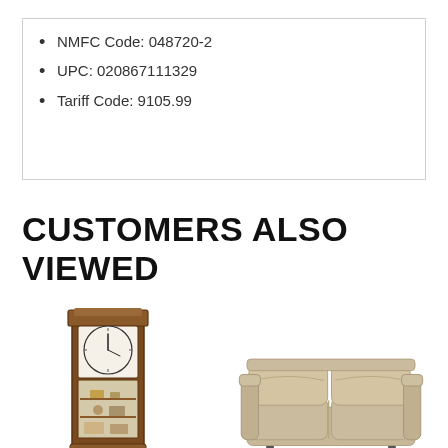NMFC Code: 048720-2
UPC: 020867111329
Tariff Code: 9105.99
CUSTOMERS ALSO VIEWED
[Figure (photo): Tall wooden grandfather clock with glass front displaying clock face and shelves with decorative items]
[Figure (photo): Beige/tan leather reclining loveseat sofa]